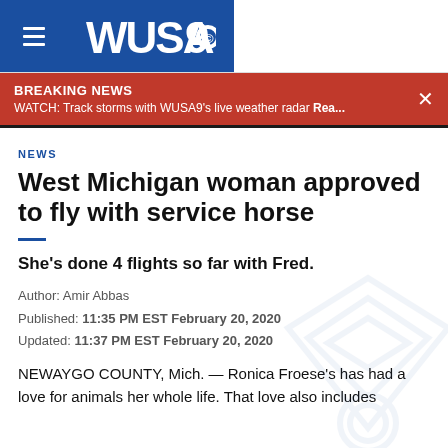WUSA9
BREAKING NEWS
WATCH: Track storms with WUSA9's live weather radar Rea...
NEWS
West Michigan woman approved to fly with service horse
She's done 4 flights so far with Fred.
Author: Amir Abbas
Published: 11:35 PM EST February 20, 2020
Updated: 11:37 PM EST February 20, 2020
NEWAYGO COUNTY, Mich. — Ronica Froese's has had a love for animals her whole life. That love also includes